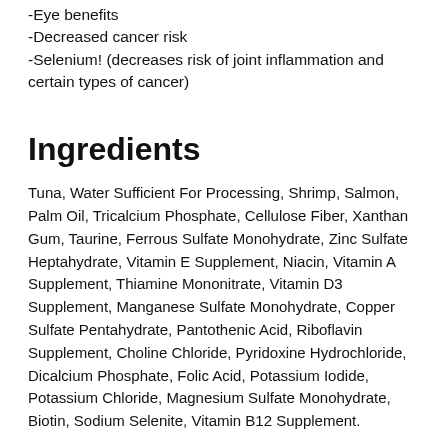-Eye benefits
-Decreased cancer risk
-Selenium! (decreases risk of joint inflammation and certain types of cancer)
Ingredients
Tuna, Water Sufficient For Processing, Shrimp, Salmon, Palm Oil, Tricalcium Phosphate, Cellulose Fiber, Xanthan Gum, Taurine, Ferrous Sulfate Monohydrate, Zinc Sulfate Heptahydrate, Vitamin E Supplement, Niacin, Vitamin A Supplement, Thiamine Mononitrate, Vitamin D3 Supplement, Manganese Sulfate Monohydrate, Copper Sulfate Pentahydrate, Pantothenic Acid, Riboflavin Supplement, Choline Chloride, Pyridoxine Hydrochloride, Dicalcium Phosphate, Folic Acid, Potassium Iodide, Potassium Chloride, Magnesium Sulfate Monohydrate, Biotin, Sodium Selenite, Vitamin B12 Supplement.